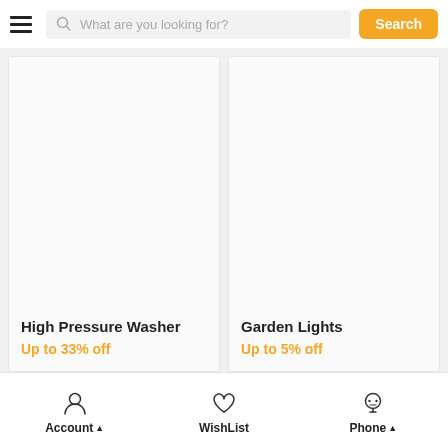[Figure (screenshot): Mobile e-commerce app header with hamburger menu, search bar reading 'What are you looking for?', and orange Search button]
[Figure (photo): Product card image area for High Pressure Washer (blank/white image area)]
High Pressure Washer
Up to 33% off
[Figure (photo): Product card image area for Garden Lights (blank/white image area)]
Garden Lights
Up to 5% off
Account ▲   WishList   Phone ▲